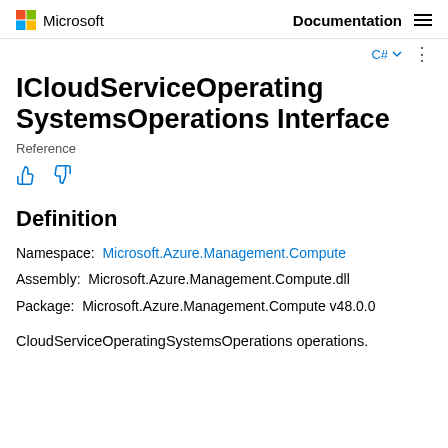Microsoft Documentation
ICloudServiceOperatingSystemsOperations Interface
Reference
Definition
Namespace:  Microsoft.Azure.Management.Compute
Assembly:  Microsoft.Azure.Management.Compute.dll
Package:  Microsoft.Azure.Management.Compute v48.0.0
CloudServiceOperatingSystemsOperations operations.